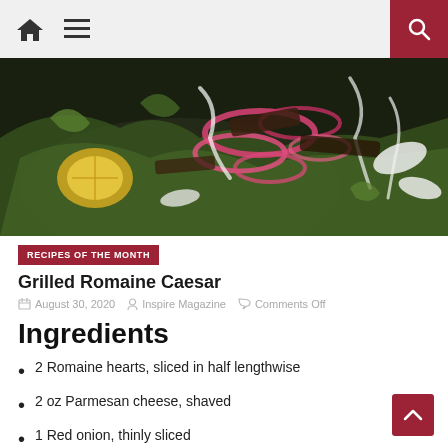Navigation bar with home icon, menu icon, and search button
[Figure (photo): Overhead close-up photo of a Grilled Romaine Caesar salad on a dark plate, featuring grilled romaine lettuce halves, pickled red onion rings, shaved parmesan, lemon slices, and drizzled dressing]
RECIPES OF THE MONTH
Grilled Romaine Caesar
August 30, 2020   Inspire Magazine   Comments Off
Ingredients
2 Romaine hearts, sliced in half lengthwise
2 oz Parmesan cheese, shaved
1 Red onion, thinly sliced